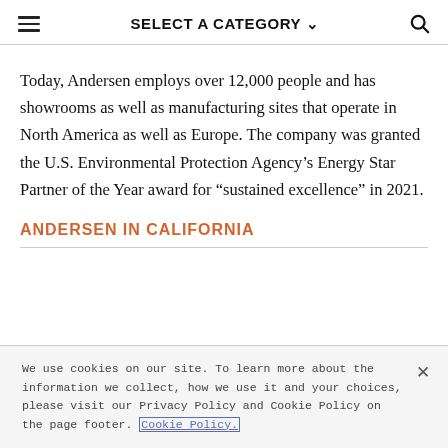SELECT A CATEGORY
Today, Andersen employs over 12,000 people and has showrooms as well as manufacturing sites that operate in North America as well as Europe. The company was granted the U.S. Environmental Protection Agency’s Energy Star Partner of the Year award for “sustained excellence” in 2021.
ANDERSEN IN CALIFORNIA
We use cookies on our site. To learn more about the information we collect, how we use it and your choices, please visit our Privacy Policy and Cookie Policy on the page footer. Cookie Policy.